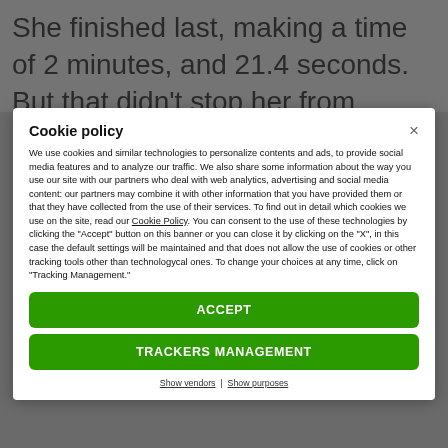She finished last, making a time of 2 minutes, and 21.4 seconds. But that didn't stop her from making
Cookie policy
We use cookies and similar technologies to personalize contents and ads, to provide social media features and to analyze our traffic. We also share some information about the way you use our site with our partners who deal with web analytics, advertising and social media content: our partners may combine it with other information that you have provided them or that they have collected from the use of their services. To find out in detail which cookies we use on the site, read our Cookie Policy. You can consent to the use of these technologies by clicking the "Accept" button on this banner or you can close it by clicking on the "X", in this case the default settings will be maintained and that does not allow the use of cookies or other tracking tools other than technologycal ones. To change your choices at any time, click on “Tracking Management.”
ACCEPT
TRACKERS MANAGEMENT
Show vendors | Show purposes